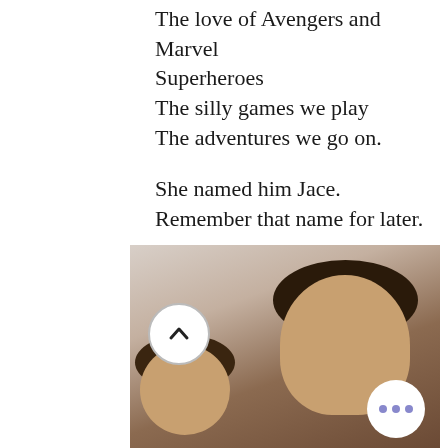The love of Avengers and Marvel Superheroes
The silly games we play
The adventures we go on.

She named him Jace.
Remember that name for later.
[Figure (photo): A selfie photo of two people — a child and an adult with curly hair — smiling together indoors. UI overlay buttons visible: an upward chevron button on the left and a three-dot menu button on the right.]